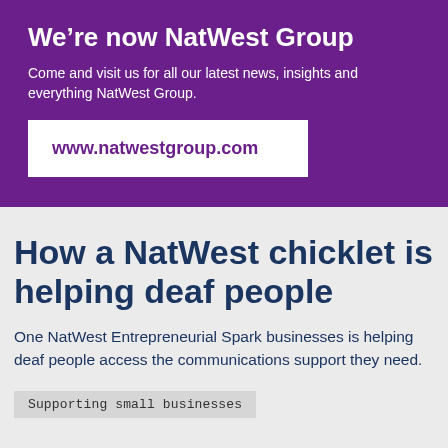We're now NatWest Group
Come and visit us for all our latest news, insights and everything NatWest Group.
www.natwestgroup.com
How a NatWest chicklet is helping deaf people
One NatWest Entrepreneurial Spark businesses is helping deaf people access the communications support they need.
Supporting small businesses